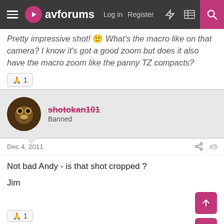avforums — Log in | Register
Pretty impressive shot! 🙏 What's the macro like on that camera? I know it's got a good zoom but does it also have the macro zoom like the panny TZ compacts?
🙏 1
shotokan101 — Banned
Dec 4, 2011  #3
Not bad Andy - is that shot cropped ?

Jim
🙏 1
icemanonline — Distinguished Member